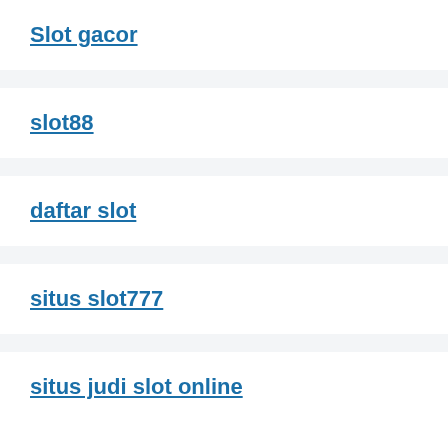Slot gacor
slot88
daftar slot
situs slot777
situs judi slot online